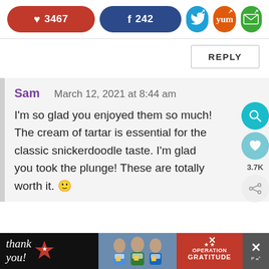[Figure (screenshot): Social share buttons row: Pinterest (3467), Facebook (242), Twitter, Yummly, Email]
[Figure (screenshot): Reply button]
Sam   March 12, 2021 at 8:44 am

I'm so glad you enjoyed them so much! The cream of tartar is essential for the classic snickerdoodle taste. I'm glad you took the plunge! These are totally worth it. 🙂
[Figure (screenshot): Advertisement banner: Thank you! Operation Gratitude ad with close button]